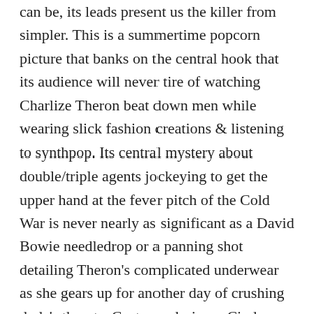can be, its leads present us the killer from simpler. This is a summertime popcorn picture that banks on the central hook that its audience will never tire of watching Charlize Theron beat down men while wearing slick fashion creations & listening to synthpop. Its central mystery about double/triple agents jockeying to get the upper hand at the fever pitch of the Cold War is never nearly as significant as a David Bowie needledrop or a panning shot detailing Theron's complicated underwear as she gears up for another day of crushing dude's throats. Costume designer Cindy Evans deserves just as much credit as ex-stuntman director David Leitch or Theron herself for making the movie feel at all distinctive or memorable. The brutality of the action choreography (much of which Theron performed herself) & the immediate pleasures of the soundtrack (which includes acts as varied as New Order, Public